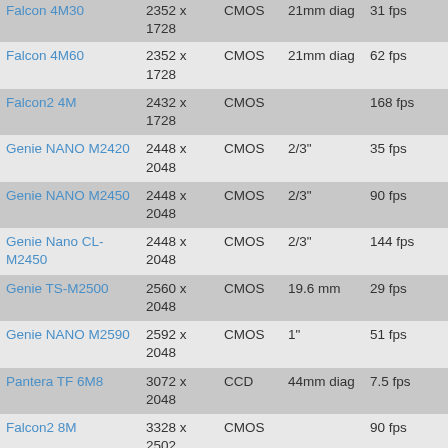| Name | Resolution | Sensor | Optical Format | Frame Rate |
| --- | --- | --- | --- | --- |
| Falcon 4M30 | 2352 x 1728 | CMOS | 21mm diag | 31 fps |
| Falcon 4M60 | 2352 x 1728 | CMOS | 21mm diag | 62 fps |
| Falcon2 4M | 2432 x 1728 | CMOS |  | 168 fps |
| Genie NANO M2420 | 2448 x 2048 | CMOS | 2/3" | 35 fps |
| Genie NANO M2450 | 2448 x 2048 | CMOS | 2/3" | 90 fps |
| Genie Nano CL-M2450 | 2448 x 2048 | CMOS | 2/3" | 144 fps |
| Genie TS-M2500 | 2560 x 2048 | CMOS | 19.6 mm | 29 fps |
| Genie NANO M2590 | 2592 x 2048 | CMOS | 1" | 51 fps |
| Pantera TF 6M8 | 3072 x 2048 | CCD | 44mm diag | 7.5 fps |
| Falcon2 8M | 3328 x 2502 | CMOS |  | 90 fps |
| Genie TS-M3500 | 3520 x 2200 | CMOS | 24.9 mm | 15 fps |
| Pantera TF 11M4 | 4008 x 2672 | CCD | 43mm diag | 4.4 fps |
| Genie TS-M4096 | 4096 x 3072 | CMOS | 30.7 mm | 12 fps |
| Falcon2 12M | 4096 x 3072 | CMOS |  | 58 fps |
| Genie NANO XL-M4090 | 4096 x 4096 | CMOS Mono |  | 30 fps w/ Turbodr... |